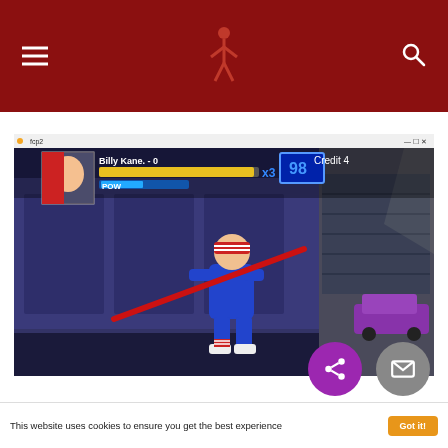Navigation header with hamburger menu, site logo, and search icon
[Figure (screenshot): Screenshot of a fighting game (Fatal Fury / King of Fighters style) showing character Billy Kane in a fighting stance with a red staff on a city street background. HUD shows: Billy Kane - 0, health bar, POW bar, x3, 98, Credit 4]
This website uses cookies to ensure you get the best experience